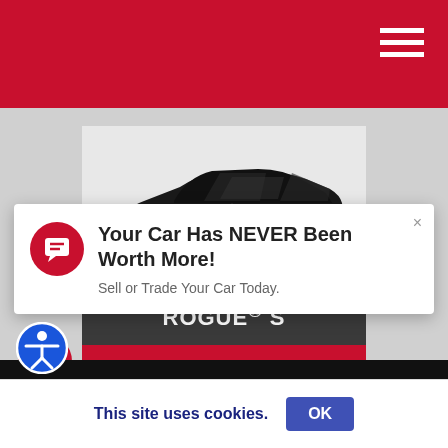[Figure (screenshot): Black Nissan Rogue SUV shown in side profile view on white/gray background]
ROGUE® S
Starting MSPR
Your Car Has NEVER Been Worth More!
Sell or Trade Your Car Today.
This site uses cookies. OK